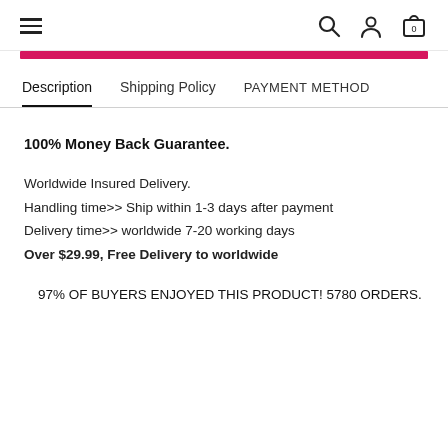Navigation header with hamburger menu, search, user, and cart icons
Description | Shipping Policy | PAYMENT METHOD (tab navigation)
100% Money Back Guarantee.
Worldwide Insured Delivery.
Handling time>> Ship within 1-3 days after payment
Delivery time>> worldwide 7-20 working days
Over $29.99, Free Delivery to worldwide
97% OF BUYERS ENJOYED THIS PRODUCT! 5780 ORDERS.